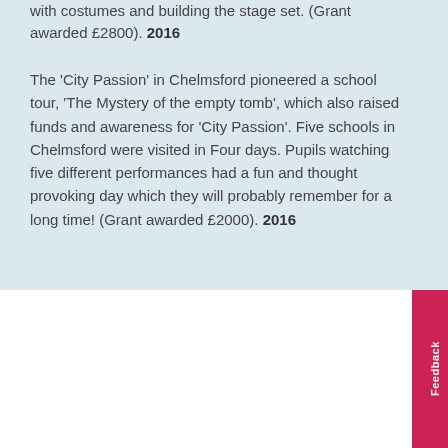with costumes and building the stage set. (Grant awarded £2800). 2016
The 'City Passion' in Chelmsford pioneered a school tour, 'The Mystery of the empty tomb', which also raised funds and awareness for 'City Passion'. Five schools in Chelmsford were visited in Four days. Pupils watching five different performances had a fun and thought provoking day which they will probably remember for a long time! (Grant awarded £2000). 2016
[Figure (illustration): Credit card icon (blue outline) above a bordered rectangle containing 'Donate Online' text in blue]
Donate Online